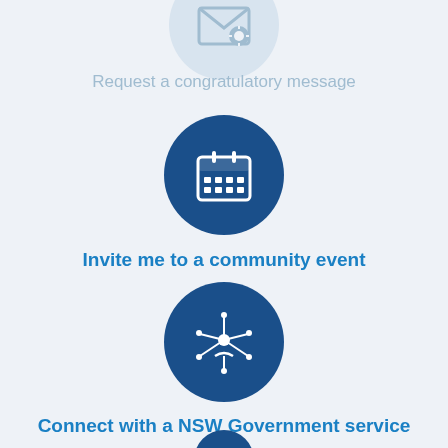[Figure (illustration): Faded light blue circle with a congratulatory message envelope/card icon (partially visible at top of page)]
Request a congratulatory message
[Figure (illustration): Dark blue circle with a white calendar icon]
Invite me to a community event
[Figure (illustration): Dark blue circle with a white network/person hub icon]
Connect with a NSW Government service
[Figure (illustration): Dark blue circle partially visible at bottom of page]